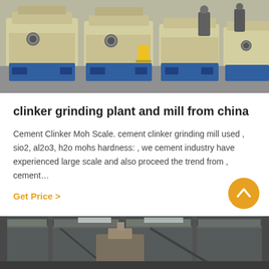[Figure (photo): Industrial grinding machines/mills lined up in a factory floor, cream/yellow colored heavy machinery with blue bases, workers visible in background]
clinker grinding plant and mill from china
Cement Clinker Moh Scale. cement clinker grinding mill used , sio2, al2o3, h2o mohs hardness: , we cement industry have experienced large scale and also proceed the trend from , cement…
Get Price  >
[Figure (photo): Industrial building interior/exterior showing steel roof structure and equipment, photographed from below looking up]